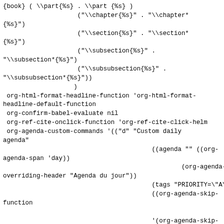{book} ( \part{%s} . \part {%s} )
                    ("\\chapter{%s}" . "\\chapter*
{%s}")
                    ("\\section{%s}" . "\\section*
{%s}")
                    ("\\subsection{%s}" .
"\\subsection*{%s}")
                    ("\\subsubsection{%s}" .
"\\subsubsection*{%s}"))
                   )
 org-html-format-headline-function 'org-html-format-headline-default-function
 org-confirm-babel-evaluate nil
 org-ref-cite-onclick-function 'org-ref-cite-click-helm
 org-agenda-custom-commands '(("d" "Custom daily
agenda"
                                        ((agenda "" ((org-agenda-span 'day))
                                                (org-agenda-overriding-header "Agenda du jour"))
                                        (tags "PRIORITY=\"A\""
                                        ((org-agenda-skip-function

                                        '(org-agenda-skip-entry-if 'todo 'done))
                                        (org-agenda-overriding-header

                                        "Tâches importantes à finaliser")
                                        )
                                        )